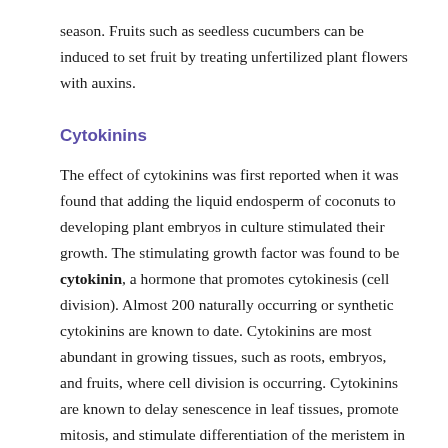season. Fruits such as seedless cucumbers can be induced to set fruit by treating unfertilized plant flowers with auxins.
Cytokinins
The effect of cytokinins was first reported when it was found that adding the liquid endosperm of coconuts to developing plant embryos in culture stimulated their growth. The stimulating growth factor was found to be cytokinin, a hormone that promotes cytokinesis (cell division). Almost 200 naturally occurring or synthetic cytokinins are known to date. Cytokinins are most abundant in growing tissues, such as roots, embryos, and fruits, where cell division is occurring. Cytokinins are known to delay senescence in leaf tissues, promote mitosis, and stimulate differentiation of the meristem in shoots and roots. Many effects on plant development